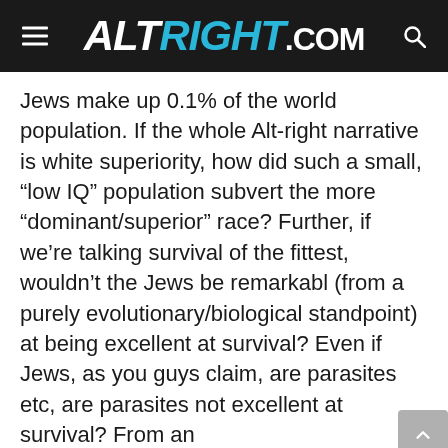ALTRIGHT.COM
Jews make up 0.1% of the world population. If the whole Alt-right narrative is white superiority, how did such a small, “low IQ” population subvert the more “dominant/superior” race? Further, if we’re talking survival of the fittest, wouldn’t the Jews be remarkabl (from a purely evolutionary/biological standpoint) at being excellent at survival? Even if Jews, as you guys claim, are parasites etc, are parasites not excellent at survival? From an